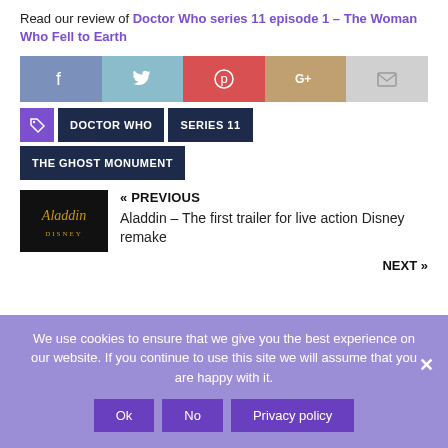Read our review of Doctor Who series 11 episode 1 – The Woman Who Fell to Earth
[Figure (infographic): Social sharing buttons row: Facebook (blue-grey), Twitter (light blue), Pinterest (red), Google+ (tan), Email (light grey)]
DOCTOR WHO
SERIES 11
THE GHOST MONUMENT
« PREVIOUS
Aladdin – The first trailer for live action Disney remake
NEXT »
We use cookies to ensure that we give you the best experience on our website. If you continue to use this site we will assume that you are happy with it.